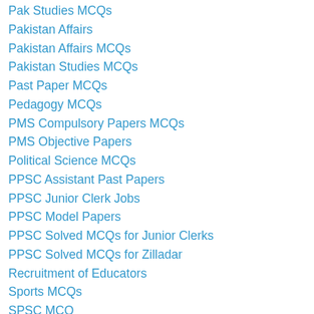Pak Studies MCQs
Pakistan Affairs
Pakistan Affairs MCQs
Pakistan Studies MCQs
Past Paper MCQs
Pedagogy MCQs
PMS Compulsory Papers MCQs
PMS Objective Papers
Political Science MCQs
PPSC Assistant Past Papers
PPSC Junior Clerk Jobs
PPSC Model Papers
PPSC Solved MCQs for Junior Clerks
PPSC Solved MCQs for Zilladar
Recruitment of Educators
Sports MCQs
SPSC MCQ
SPSC Past Papers
Transfer Policy
Uncategorized
Urdu Literature MCQs